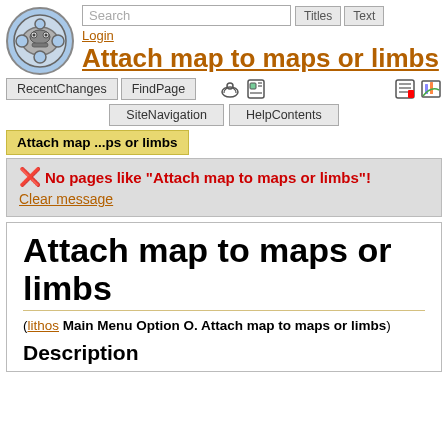[Figure (logo): Circular logo with blue background and robot/mask face design]
Search
Titles   Text
Login
Attach map to maps or limbs
RecentChanges   FindPage
SiteNavigation   HelpContents
Attach map ...ps or limbs
No pages like "Attach map to maps or limbs"!
Clear message
Attach map to maps or limbs
(lithos Main Menu Option O. Attach map to maps or limbs)
Description